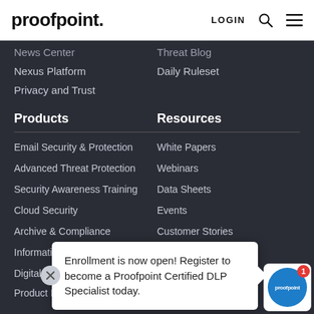[Figure (logo): Proofpoint logo with LOGIN, search, and hamburger menu icons]
News Center
Threat Blog
Nexus Platform
Daily Ruleset
Privacy and Trust
Products
Resources
Email Security & Protection
White Papers
Advanced Threat Protection
Webinars
Security Awareness Training
Data Sheets
Cloud Security
Events
Archive & Compliance
Customer Stories
Information P…
Digital Risk Protec…
Product Bundles
Enrollment is now open! Register to become a Proofpoint Certified DLP Specialist today.